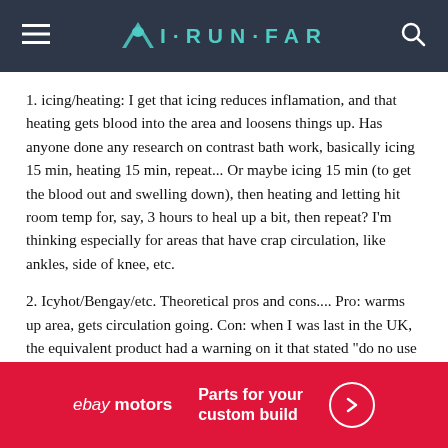I·RUN·FAR
1. icing/heating: I get that icing reduces inflamation, and that heating gets blood into the area and loosens things up. Has anyone done any research on contrast bath work, basically icing 15 min, heating 15 min, repeat... Or maybe icing 15 min (to get the blood out and swelling down), then heating and letting hit room temp for, say, 3 hours to heal up a bit, then repeat? I&#039;m thinking especially for areas that have crap circulation, like ankles, side of knee, etc.
2. Icyhot/Bengay/etc. Theoretical pros and cons.... Pro: warms up area, gets circulation going. Con: when I was last in the UK, the equivalent product had a warning on it that stated "do no use this product if you are allergic to NSAIDS" even though the ingredient list didn&#039;t have any NSAIDS of which I was familiar.
[Figure (infographic): eBay Motors advertisement banner: red background, 'ebay motors' logo on left, 'Parts for your custom build' text in center, arrow circle button on right]